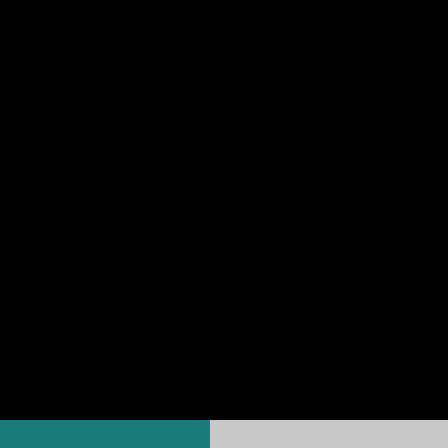shots, too.
[Figure (photo): Large black image area occupying the majority of the page]